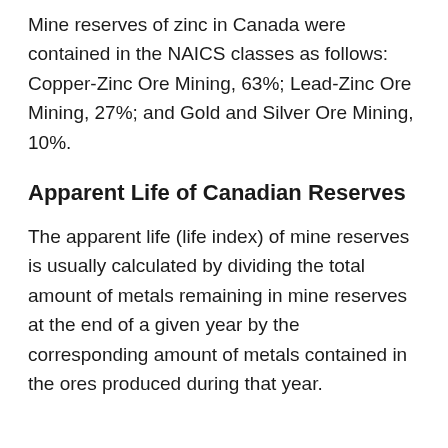Mine reserves of zinc in Canada were contained in the NAICS classes as follows: Copper-Zinc Ore Mining, 63%; Lead-Zinc Ore Mining, 27%; and Gold and Silver Ore Mining, 10%.
Apparent Life of Canadian Reserves
The apparent life (life index) of mine reserves is usually calculated by dividing the total amount of metals remaining in mine reserves at the end of a given year by the corresponding amount of metals contained in the ores produced during that year.